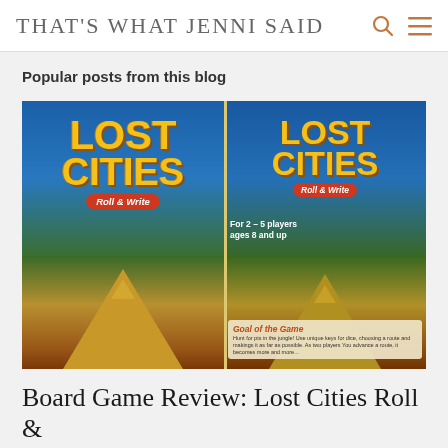THAT'S WHAT JENNI SAID
Popular posts from this blog
[Figure (photo): Two copies of the 'Lost Cities Roll & Write' board game box shown side by side. Each box features golden 'LOST CITIES' text over a blue sky and jungle scene with a Mayan pyramid. The right box shows 'For 2-5 players ages 8 and up' and 'Goal of the Game' text on the back.]
Board Game Review: Lost Cities Roll &